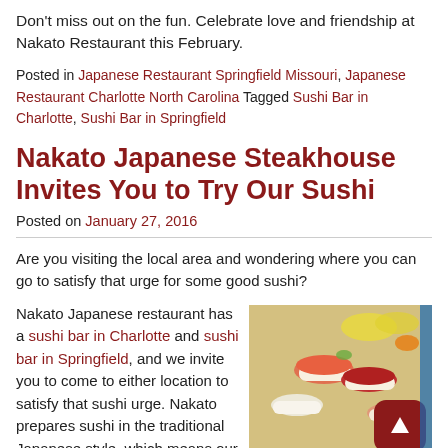Don't miss out on the fun. Celebrate love and friendship at Nakato Restaurant this February.
Posted in Japanese Restaurant Springfield Missouri, Japanese Restaurant Charlotte North Carolina Tagged Sushi Bar in Charlotte, Sushi Bar in Springfield
Nakato Japanese Steakhouse Invites You to Try Our Sushi
Posted on January 27, 2016
Are you visiting the local area and wondering where you can go to satisfy that urge for some good sushi?
Nakato Japanese restaurant has a sushi bar in Charlotte and sushi bar in Springfield, and we invite you to come to either location to satisfy that sushi urge. Nakato prepares sushi in the traditional Japanese style, which means our sushi dishes are always
[Figure (photo): Photo of sushi/Japanese food platter with salmon, tuna, and other items on a white plate, with a red rounded square button with an upward arrow overlay, and a blue partial element on the right edge]